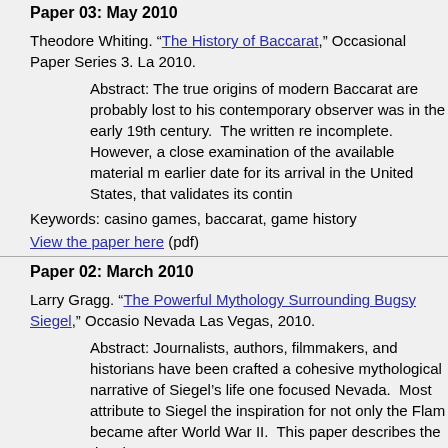Paper 03: May 2010
Theodore Whiting. “The History of Baccarat,” Occasional Paper Series 3. La 2010.
Abstract: The true origins of modern Baccarat are probably lost to his contemporary observer was in the early 19th century. The written re incomplete. However, a close examination of the available material m earlier date for its arrival in the United States, that validates its contin
Keywords: casino games, baccarat, game history
View the paper here (pdf)
Paper 02: March 2010
Larry Gragg. “The Powerful Mythology Surrounding Bugsy Siegel,” Occasio Nevada Las Vegas, 2010.
Abstract: Journalists, authors, filmmakers, and historians have been crafted a cohesive mythological narrative of Siegel's life one focused Nevada. Most attribute to Siegel the inspiration for not only the Flam became after World War II. This paper describes the development o
Keywords: Bugsy Siegel, casinos, organized crime, Las Vegas, Flamingo
View the paper here (pdf)
Paper 01: February 2010